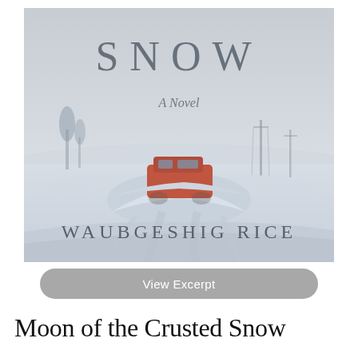[Figure (illustration): Book cover of 'Snow: A Novel' by Waubgeshig Rice. The cover art depicts a wintry, overcast landscape with a red van buried in snow drifts on a rural road. The sky is pale grey, bare trees and utility poles are visible in the background. The title 'SNOW' is displayed in large spaced serif letters at the top, 'A Novel' in italic cursive in the middle, and 'WAUBGESHIG RICE' in large spaced serif letters at the bottom.]
View Excerpt
Moon of the Crusted Snow